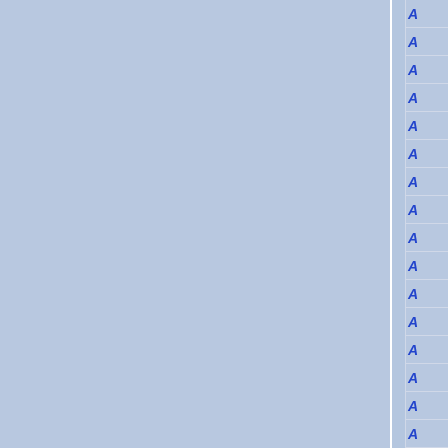[Figure (other): Two large light blue rectangular panels side by side separated by a white vertical divider, with a narrow right column containing repeated italic letter A entries separated by horizontal lines]
A
A
A
A
A
A
A
A
A
A
A
A
A
A
A
A